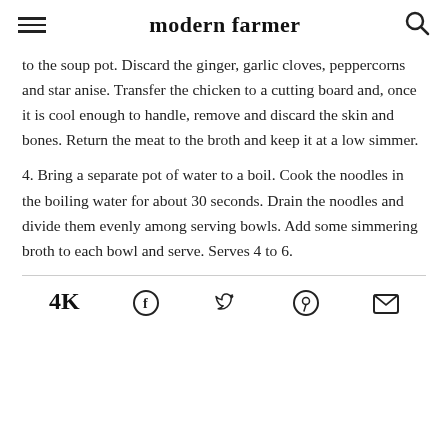modern farmer
to the soup pot. Discard the ginger, garlic cloves, peppercorns and star anise. Transfer the chicken to a cutting board and, once it is cool enough to handle, remove and discard the skin and bones. Return the meat to the broth and keep it at a low simmer.
4. Bring a separate pot of water to a boil. Cook the noodles in the boiling water for about 30 seconds. Drain the noodles and divide them evenly among serving bowls. Add some simmering broth to each bowl and serve. Serves 4 to 6.
4K  [facebook] [twitter] [pinterest] [email]